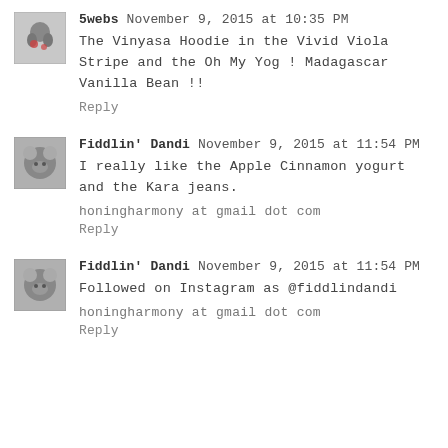[Figure (photo): Small square avatar showing a hedgehog or small animal with red berries/fruit, grayscale-ish.]
5webs November 9, 2015 at 10:35 PM
The Vinyasa Hoodie in the Vivid Viola Stripe and the Oh My Yog ! Madagascar Vanilla Bean !!
Reply
[Figure (photo): Small square avatar showing a koala, grayscale.]
Fiddlin’ Dandi November 9, 2015 at 11:54 PM
I really like the Apple Cinnamon yogurt and the Kara jeans.
honingharmony at gmail dot com
Reply
[Figure (photo): Small square avatar showing a koala, grayscale.]
Fiddlin’ Dandi November 9, 2015 at 11:54 PM
Followed on Instagram as @fiddlindandi
honingharmony at gmail dot com
Reply